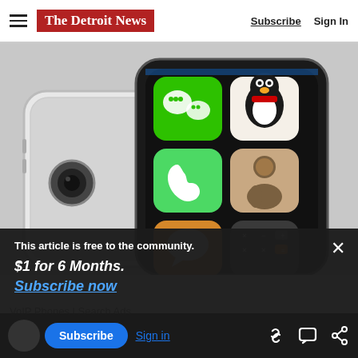The Detroit News — Subscribe | Sign In
[Figure (photo): Two smartphones (one white, one black) displayed at an angle showing Chinese app icons: WeChat (green), QQ (penguin), Phone (green), Contacts (tan), Messages (orange), Calculator (dark)]
This article is free to the community.
$1 for 6 Months.
Subscribe now
VoIP Phones | Search Ads
Subscribe  Sign in